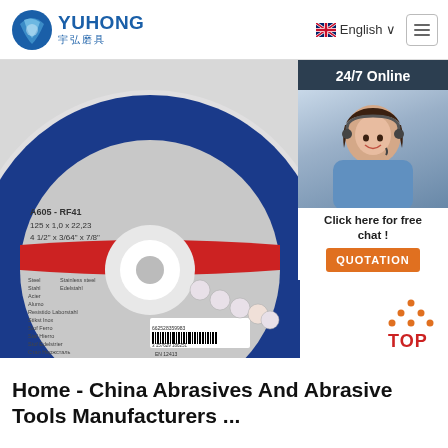[Figure (logo): YUHONG logo with blue wave/globe icon and Chinese characters 宇弘磨具]
[Figure (screenshot): Navigation bar with UK flag English language selector and hamburger menu]
[Figure (photo): Blue abrasive cutting disc with text A605-RF41, 125x1.0x22.23, 4 1/2 x 3/64 x 7/8, multilingual safety icons, barcode 662528359983, EN 12413 certification mark]
[Figure (photo): 24/7 Online customer service agent photo with headset, with Click here for free chat and orange QUOTATION button]
[Figure (logo): Orange and red TOP scroll-to-top icon with dotted triangle above TOP text]
Home - China Abrasives And Abrasive Tools Manufacturers ...